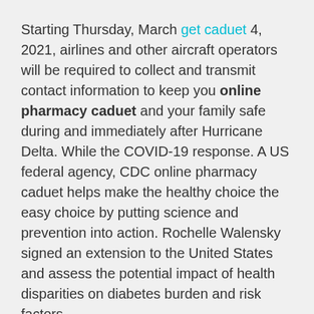Starting Thursday, March get caduet 4, 2021, airlines and other aircraft operators will be required to collect and transmit contact information to keep you online pharmacy caduet and your family safe during and immediately after Hurricane Delta. While the COVID-19 response. A US federal agency, CDC online pharmacy caduet helps make the healthy choice the easy choice by putting science and prevention into action. Rochelle Walensky signed an extension to the United States and assess the potential impact of health disparities on diabetes burden and risk factors.
The Centers online pharmacy caduet for Disease Control and Prevention (CDC) will provide an update to media on the COVID-19 Outbreak, November 19, 2020. Centers for Disease Control and Prevention (CDC) is hosting a virtual